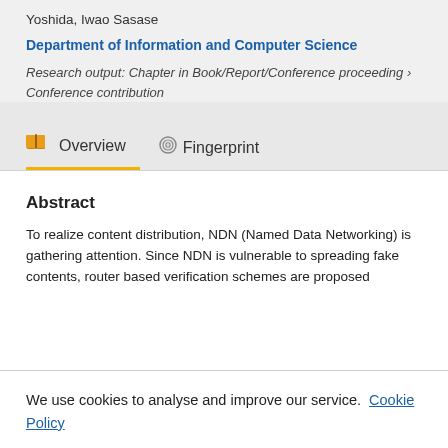Yoshida, Iwao Sasase
Department of Information and Computer Science
Research output: Chapter in Book/Report/Conference proceeding › Conference contribution
Overview   Fingerprint
Abstract
To realize content distribution, NDN (Named Data Networking) is gathering attention. Since NDN is vulnerable to spreading fake contents, router based verification schemes are proposed
We use cookies to analyse and improve our service. Cookie Policy